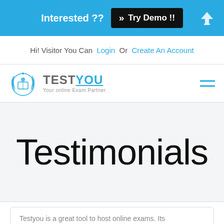Interested ?? >> Try Demo !!
Hi! Visitor You Can Login Or Create An Account
[Figure (logo): TestYou logo with laurel wreath icon and text 'TESTYOU Your online Exam Partner']
Testimonials
Testyou is a great tool to host online exams. Its